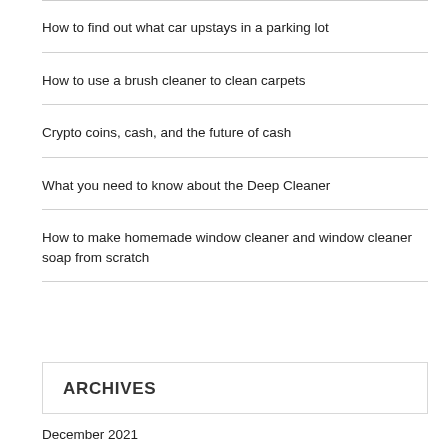How to find out what car upstays in a parking lot
How to use a brush cleaner to clean carpets
Crypto coins, cash, and the future of cash
What you need to know about the Deep Cleaner
How to make homemade window cleaner and window cleaner soap from scratch
ARCHIVES
December 2021